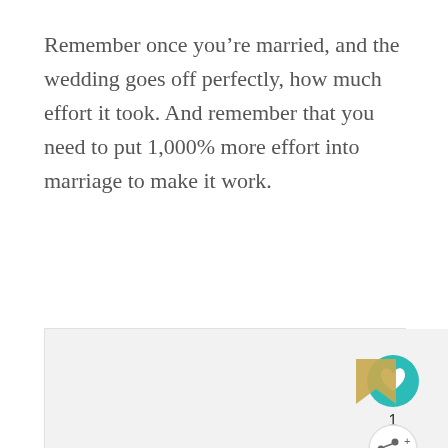Remember once you're married, and the wedding goes off perfectly, how much effort it took. And remember that you need to put 1,000% more effort into marriage to make it work.
[Figure (screenshot): Gray placeholder image area with social sharing UI elements: a teal heart/like button with count '1', a share button, a 'What's Next' panel showing 'The Perfect Winter...' with a thumbnail, and an orange ad banner at the bottom reading 'You can help hungry kids.' with No Kid Hungry logo and 'LEARN HOW' button.]